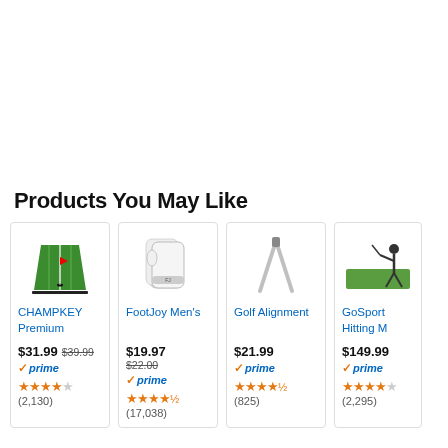Products You May Like
[Figure (screenshot): CHAMPKEY Premium putting mat product image]
CHAMPKEY Premium
$31.99  $39.99
✓prime
★★★★ (2,130)
[Figure (screenshot): FootJoy Men's golf gloves product image]
FootJoy Men's
$19.97  $22.00
✓prime
★★★★½ (17,038)
[Figure (screenshot): Golf Alignment stick product image]
Golf Alignment
$21.99
✓prime
★★★★½ (825)
[Figure (screenshot): GoSport Hitting Mat product image]
GoSport Hitting M...
$149.99
✓prime
★★★★ (2,295)